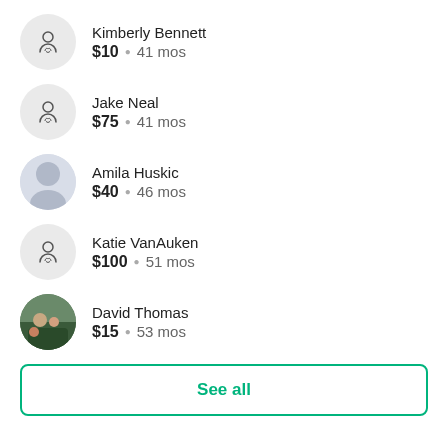Kimberly Bennett $10 • 41 mos
Jake Neal $75 • 41 mos
Amila Huskic $40 • 46 mos
Katie VanAuken $100 • 51 mos
David Thomas $15 • 53 mos
See all